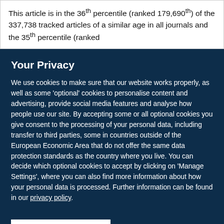This article is in the 36th percentile (ranked 179,690th) of the 337,738 tracked articles of a similar age in all journals and the 35th percentile (ranked
Your Privacy
We use cookies to make sure that our website works properly, as well as some 'optional' cookies to personalise content and advertising, provide social media features and analyse how people use our site. By accepting some or all optional cookies you give consent to the processing of your personal data, including transfer to third parties, some in countries outside of the European Economic Area that do not offer the same data protection standards as the country where you live. You can decide which optional cookies to accept by clicking on 'Manage Settings', where you can also find more information about how your personal data is processed. Further information can be found in our privacy policy.
Accept all cookies
Manage preferences